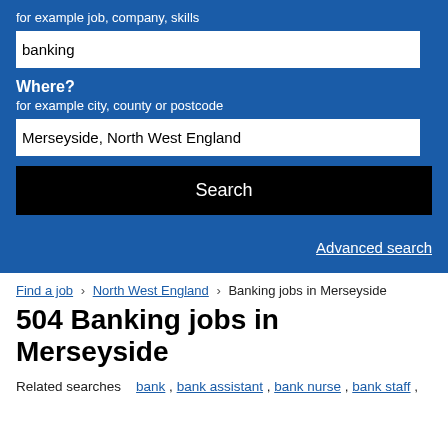for example job, company, skills
banking
Where?
for example city, county or postcode
Merseyside, North West England
Search
Advanced search
Find a job > North West England > Banking jobs in Merseyside
504 Banking jobs in Merseyside
Related searches  bank , bank assistant , bank nurse , bank staff ,